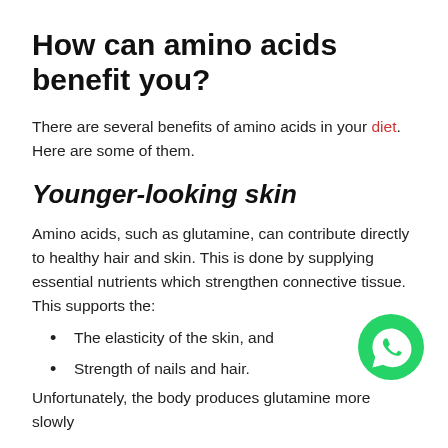How can amino acids benefit you?
There are several benefits of amino acids in your diet. Here are some of them.
Younger-looking skin
Amino acids, such as glutamine, can contribute directly to healthy hair and skin. This is done by supplying essential nutrients which strengthen connective tissue. This supports the:
The elasticity of the skin, and
Strength of nails and hair.
[Figure (logo): WhatsApp logo button — green circle with white phone/chat icon]
Unfortunately, the body produces glutamine more slowly